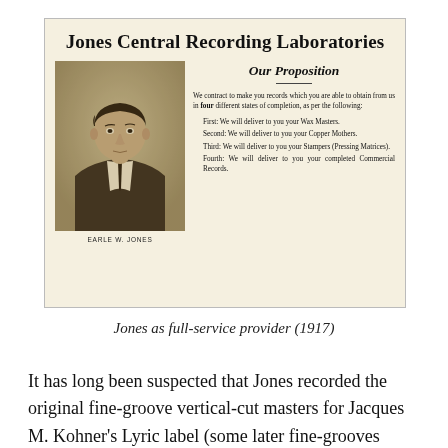[Figure (illustration): Advertisement for Jones Central Recording Laboratories showing a portrait photograph of Earle W. Jones on the left and text on the right describing 'Our Proposition' — four stages of record completion: Wax Masters, Copper Mothers, Stampers (Pressing Matrices), and completed Commercial Records.]
Jones as full-service provider (1917)
It has long been suspected that Jones recorded the original fine-groove vertical-cut masters for Jacques M. Kohner's Lyric label (some later fine-grooves masters were dubbed for Lyric by Pathé, from their